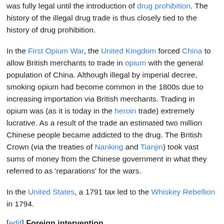was fully legal until the introduction of drug prohibition. The history of the illegal drug trade is thus closely tied to the history of drug prohibition.
In the First Opium War, the United Kingdom forced China to allow British merchants to trade in opium with the general population of China. Although illegal by imperial decree, smoking opium had become common in the 1800s due to increasing importation via British merchants. Trading in opium was (as it is today in the heroin trade) extremely lucrative. As a result of the trade an estimated two million Chinese people became addicted to the drug. The British Crown (via the treaties of Nanking and Tianjin) took vast sums of money from the Chinese government in what they referred to as 'reparations' for the wars.
In the United States, a 1791 tax led to the Whiskey Rebellion in 1794.
[edit] Foreign intervention
Some governments that criminalize drug trade have a